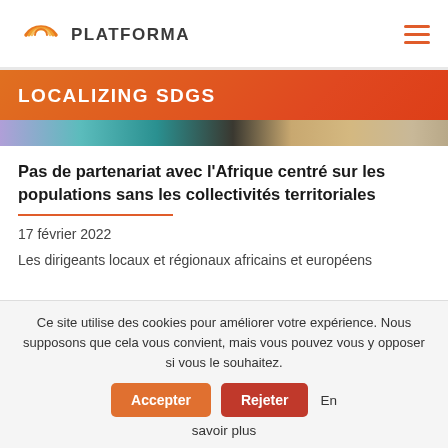PLATFORMA
LOCALIZING SDGS
[Figure (photo): Colorful image strip showing people and scenes from Africa and Europe]
Pas de partenariat avec l'Afrique centré sur les populations sans les collectivités territoriales
17 février 2022
Les dirigeants locaux et régionaux africains et européens
Ce site utilise des cookies pour améliorer votre expérience. Nous supposons que cela vous convient, mais vous pouvez vous y opposer si vous le souhaitez.
En savoir plus